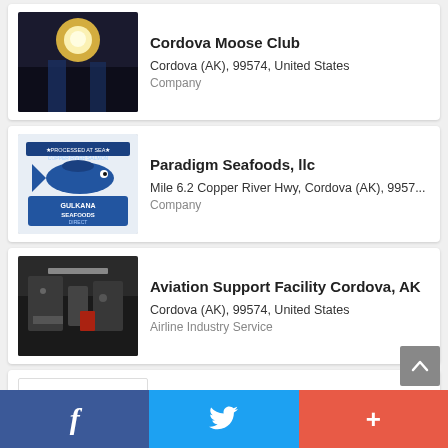[Figure (other): Listing card: Cordova Moose Club - dark outdoor photo with bright light]
Cordova Moose Club
Cordova (AK), 99574, United States
Company
[Figure (logo): Gulkana Seafoods Direct logo with fish illustration]
Paradigm Seafoods, llc
Mile 6.2 Copper River Hwy, Cordova (AK), 99574...
Company
[Figure (photo): Aviation facility interior photo]
Aviation Support Facility Cordova, AK
Cordova (AK), 99574, United States
Airline Industry Service
[Figure (logo): Webber Wild Seafood logo]
Webber Wild Seafood
PO BOX 1711, Cordova (AK), 99574, United Sta...
Shopping & Retail, Food & Beverage Company
f  [Twitter bird]  +